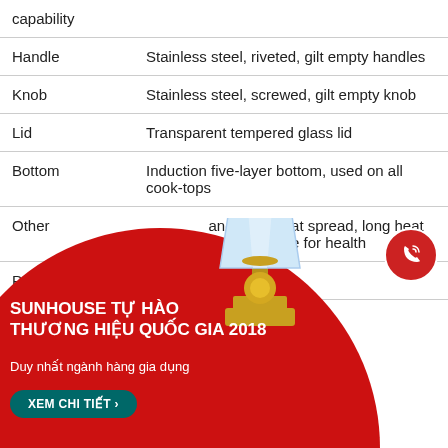| Attribute | Description |
| --- | --- |
| capability |  |
| Handle | Stainless steel, riveted, gilt empty handles |
| Knob | Stainless steel, screwed, gilt empty knob |
| Lid | Transparent tempered glass lid |
| Bottom | Induction five-layer bottom, used on all cook-tops |
| Other | …and even heat spread, long heat …anti-rust, safe for health |
| P… |  |
[Figure (illustration): Red circular banner with trophy award image, promoting SUNHOUSE as national brand 2018]
SUNHOUSE TỰ HÀO THƯƠNG HIỆU QUỐC GIA 2018
Duy nhất ngành hàng gia dụng
XEM CHI TIẾT ›